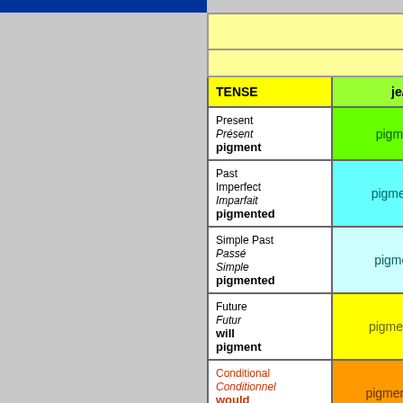| TENSE | je/j' | tu | il |
| --- | --- | --- | --- |
| Present / Présent / pigment | pigmente | pigmentes | pigmente |
| Past Imperfect / Imparfait / pigmented | pigmentais | pigmentais | pigmentait |
| Simple Past / Passé Simple / pigmented | pigmentai | pigmentas | pigmenta |
| Future / Futur / will pigment | pigmenterai | pigmenteras | pigmentera |
| Conditional / Conditionnel / would pigment | pigmenterais | pigmenterais | pigmenterait |
| Subjunctive / Subjonctif |  |  |  |